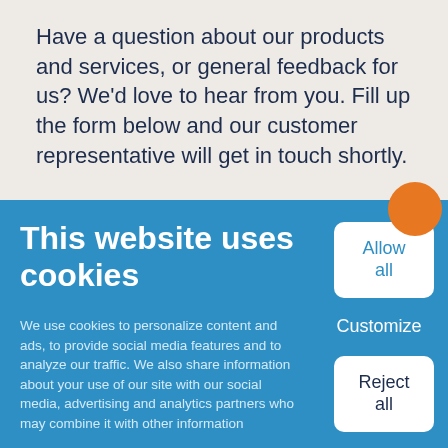Have a question about our products and services, or general feedback for us? We'd love to hear from you. Fill up the form below and our customer representative will get in touch shortly.
This website uses cookies
We use cookies to personalize content and ads, to provide social media features and to analyze our traffic. We also share information about your use of our site with our social media, advertising and analytics partners who may combine it with other information
Allow all
Customize
Reject all